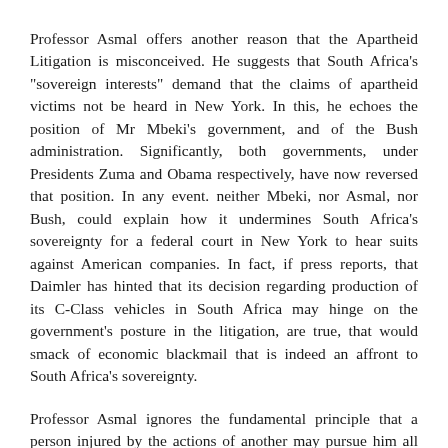Professor Asmal offers another reason that the Apartheid Litigation is misconceived. He suggests that South Africa’s “sovereign interests” demand that the claims of apartheid victims not be heard in New York. In this, he echoes the position of Mr Mbeki’s government, and of the Bush administration. Significantly, both governments, under Presidents Zuma and Obama respectively, have now reversed that position. In any event. neither Mbeki, nor Asmal, nor Bush, could explain how it undermines South Africa’s sovereignty for a federal court in New York to hear suits against American companies. In fact, if press reports, that Daimler has hinted that its decision regarding production of its C-Class vehicles in South Africa may hinge on the government’s posture in the litigation, are true, that would smack of economic blackmail that is indeed an affront to South Africa’s sovereignty.
Professor Asmal ignores the fundamental principle that a person injured by the actions of another may pursue him all the way to his home jurisdiction. The House of Lords ruled that South African miners injured in asbestos mines could sue the British holding company in the UK. Recently BP and Shell agreed